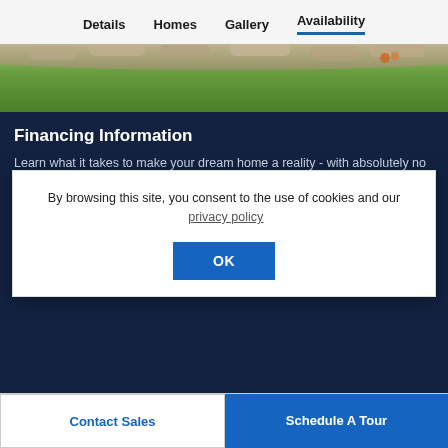Details   Homes   Gallery   Availability
[Figure (photo): Partial view of a landscaped yard with stone garden border and green grass]
Financing Information
Learn what it takes to make your dream home a reality - with absolutely no obligation. Contact a Toll Brothers Mortgage Company representative to answer all your financing questions about the wide and complete
By browsing this site, you consent to the use of cookies and our  privacy policy
OK
Contact Sales
Schedule A Tour